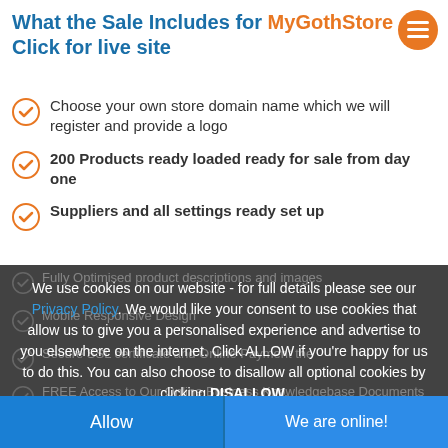What the Sale Includes for MyGothStore Click for live site
Choose your own store domain name which we will register and provide a logo
200 Products ready loaded ready for sale from day one
Suppliers and all settings ready set up
We use cookies on our website - for full details please see our Privacy Policy. We would like your consent to use cookies that allow us to give you a personalised experience and advertise to you elsewhere on the internet. Click ALLOW if you're happy for us to do this. You can also choose to disallow all optional cookies by clicking DISALLOW.
Allow
We are online!